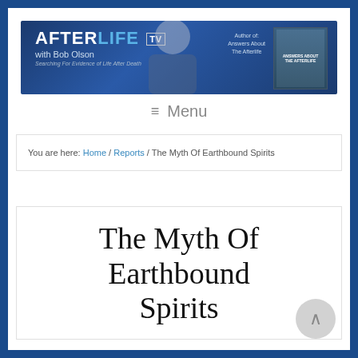[Figure (screenshot): AfterLife TV with Bob Olson website banner — dark blue background with logo, tagline 'Searching For Evidence of Life After Death', photo of Bob Olson, and book cover 'Answers About The Afterlife']
≡ Menu
You are here: Home / Reports / The Myth Of Earthbound Spirits
The Myth Of Earthbound Spirits